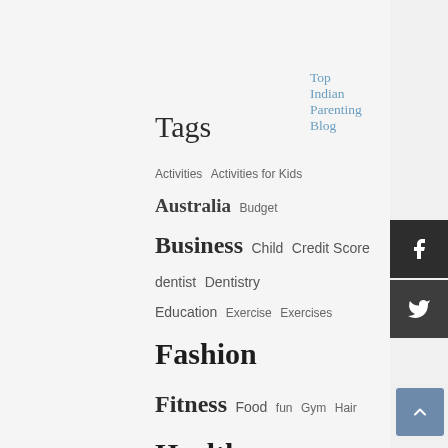Top Indian Parenting Blog
Tags
Activities  Activities for Kids  Australia  Budget  Business  Child  Credit Score  dentist  Dentistry  Education  Exercise  Exercises  Fashion  Fitness  Food  fun  Gym  Hair  Health  healthy  Home  India  infographic  Inspiration  Insurance  Kids  Kitchen  Lifestyle  Loan  Money  Music  Oral Health  Parenting  Places  Property  Real Estate  sports  Swimming  Technology  Tips  trampoline park  Travel  Wedding  Workout  yoga